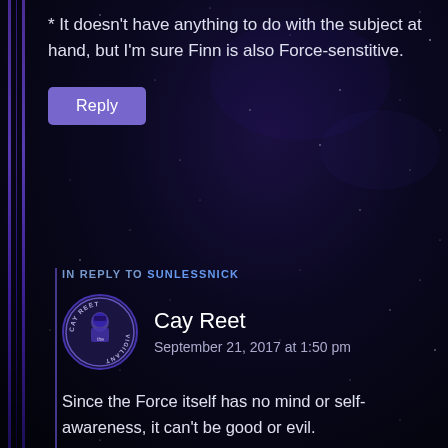* It doesn't have anything to do with the subject at hand, but I'm sure Finn is also Force-senstitive.
Reply
IN REPLY TO SUNLESSNICK
Cay Reet
September 21, 2017 at 1:50 pm
Since the Force itself has no mind or self-awareness, it can't be good or evil.
I like the principle of passion vs. intellect,